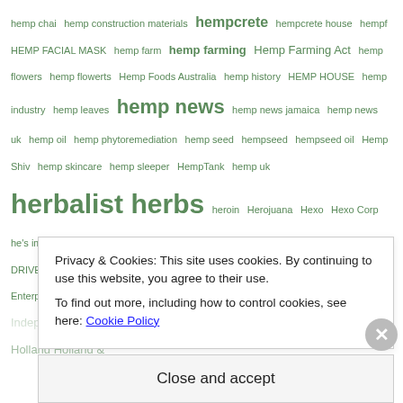hemp chai hemp construction materials hempcrete hempcrete house hempf HEMP FACIAL MASK hemp farm hemp farming Hemp Farming Act hemp flowers hemp flowerts Hemp Foods Australia hemp history HEMP HOUSE hemp industry hemp leaves hemp news hemp news jamaica hemp news uk hemp oil hemp phytoremediation hemp seed hempseed hempseed oil Hemp Shiv hemp skincare hemp sleeper HempTank hemp uk herbalist herbs heroin Herojuana Hexo Hexo Corp he's improving every week and making progress HGH Seed Hi-Fi Hops HIGH DRIVE high society High Times HIGH TIMES CANNABIS CUP Hikurangi Enterprises Hikurangi Hemp Hindu his mother Charlotte told the Irish Independent: "Billy is doing absolutely incredible HISTORY HIV Ho Kong Holland Holland &
Privacy & Cookies: This site uses cookies. By continuing to use this website, you agree to their use.
To find out more, including how to control cookies, see here: Cookie Policy
Close and accept